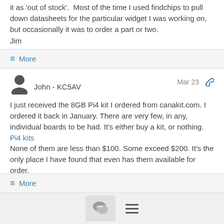it as 'out of stock'. Most of the time I used findchips to pull down datasheets for the particular widget I was working on, but occasionally it was to order a part or two.
Jim
≡ More
John - KC5AV   Mar 23
I just received the 8GB Pi4 kit I ordered from canakit.com. I ordered it back in January. There are very few, in any, individual boards to be had. It's either buy a kit, or nothing.
Pi4 kits
None of them are less than $100. Some exceed $200. It's the only place I have found that even has them available for order.
≡ More